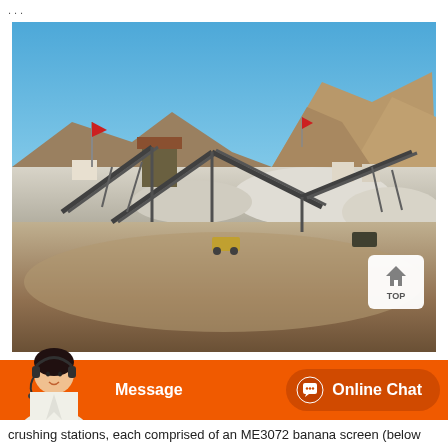...
[Figure (photo): Outdoor mining/crushing plant facility with conveyor belts, industrial machinery, gravel piles, mountains in background, clear blue sky, red flag visible on left side. A 'TOP' button overlay visible in lower right of image.]
Message   Online Chat
crushing stations, each comprised of an ME3072 banana screen (below